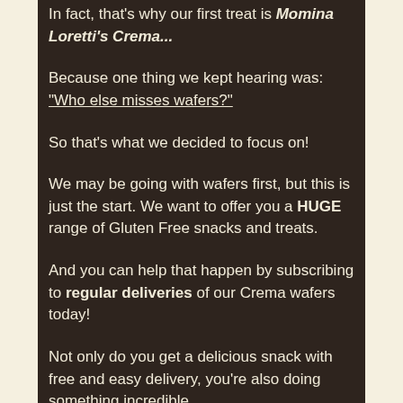In fact, that's why our first treat is Momina Loretti's Crema...
Because one thing we kept hearing was: "Who else misses wafers?"
So that's what we decided to focus on!
We may be going with wafers first, but this is just the start. We want to offer you a HUGE range of Gluten Free snacks and treats.
And you can help that happen by subscribing to regular deliveries of our Crema wafers today!
Not only do you get a delicious snack with free and easy delivery, you're also doing something incredible.